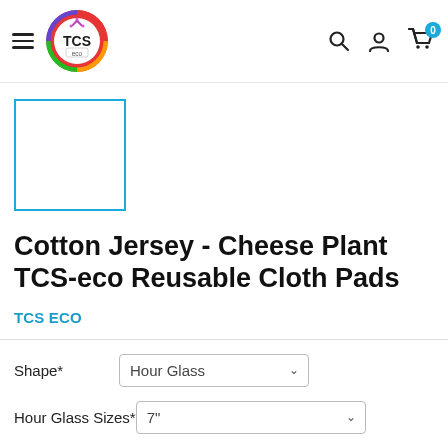[Figure (logo): TCS eco colorful circular logo with crown and rainbow gradient]
[Figure (photo): Product thumbnail image placeholder with blue border outline]
Cotton Jersey - Cheese Plant TCS-eco Reusable Cloth Pads
TCS ECO
Shape*  Hour Glass
Hour Glass Sizes*  7"